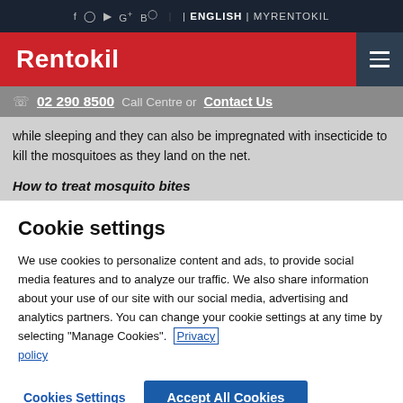f | ◻ | ▶ | G+ | B  |  | ENGLISH | MYRENTOKIL
[Figure (logo): Rentokil logo - white bold text on red background with hamburger menu on dark right side]
02 290 8500  Call Centre or  Contact Us
while sleeping and they can also be impregnated with insecticide to kill the mosquitoes as they land on the net.
How to treat mosquito bites
Cookie settings
We use cookies to personalize content and ads, to provide social media features and to analyze our traffic. We also share information about your use of our site with our social media, advertising and analytics partners. You can change your cookie settings at any time by selecting "Manage Cookies".  Privacy policy
Cookies Settings    Accept All Cookies